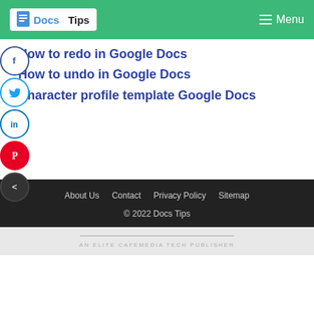Docs Tips | Menu
How to redo in Google Docs
How to undo in Google Docs
Character profile template Google Docs
About Us  Contact  Privacy Policy  Sitemap
© 2022 Docs Tips
AN ELITE CAFEMEDIA TECH PUBLISHER